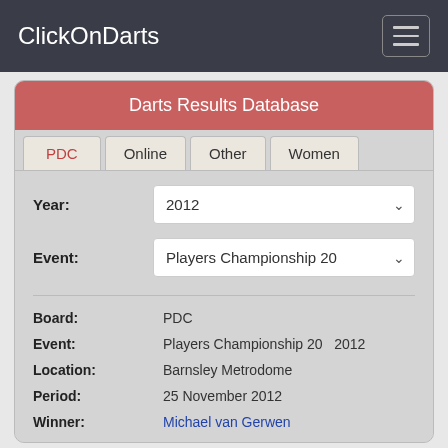ClickOnDarts
Darts Results Database
PDC | Online | Other | Women
Year: 2012
Event: Players Championship 20
Board: PDC
Event: Players Championship 20   2012
Location: Barnsley Metrodome
Period: 25 November 2012
Winner: Michael van Gerwen